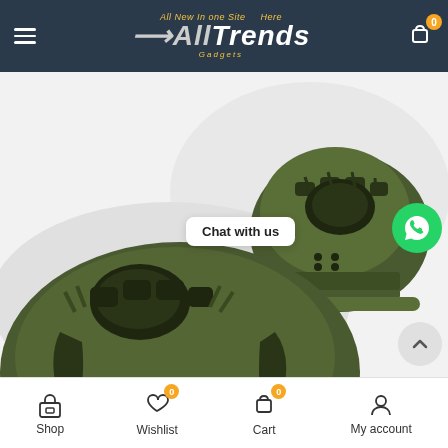All Trends Here Gadgets — navigation header with hamburger menu and cart icon
[Figure (photo): Two olive/army green tactical gloves with hard knuckle protection, shown from the back on a white background. One glove is in a fist position in the upper right, and another larger glove is in the lower left, both showing rubber knuckle armor and ribbed fabric.]
Chat with us
Shop | Wishlist (0) | Cart (0) | My account